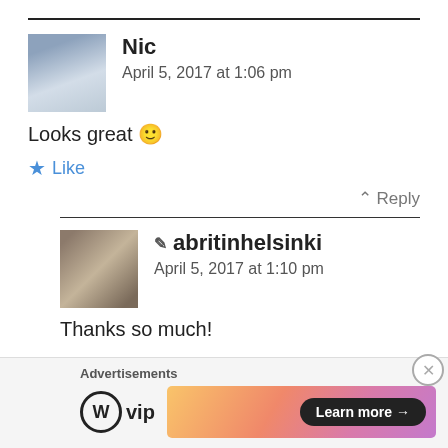Nic
April 5, 2017 at 1:06 pm
Looks great 🙂
★ Like
↑ Reply
✏ abritinhelsinki
April 5, 2017 at 1:10 pm
Thanks so much!
[Figure (other): Advertisement banner: WordPress VIP logo and a gradient ad banner with Learn more button]